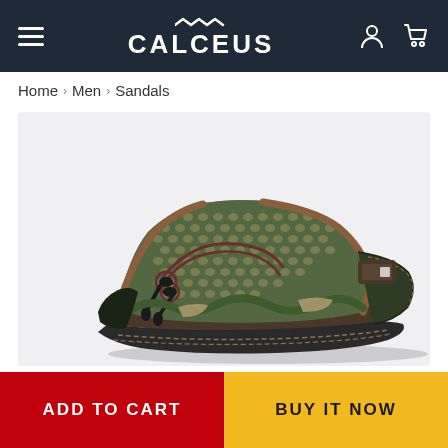CALCEUS
Home › Men › Sandals
[Figure (photo): A close-up product photo of a men's outdoor sport sandal with mesh upper, dark green and brown leather accents, bungee lace closure, and chunky stitched outsole, shown on a light gray background.]
ADD TO CART
BUY IT NOW